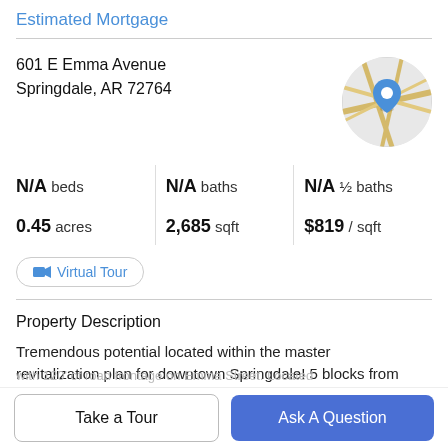Estimated Mortgage
601 E Emma Avenue
Springdale, AR 72764
[Figure (map): Circular map thumbnail showing street map with blue location pin marker]
N/A beds | N/A baths | N/A ½ baths | 0.45 acres | 2,685 sqft | $819 / sqft
Virtual Tour
Property Description
Tremendous potential located within the master revitalization plan for downtown Springdale! 5 blocks from
Take a Tour
Ask A Question